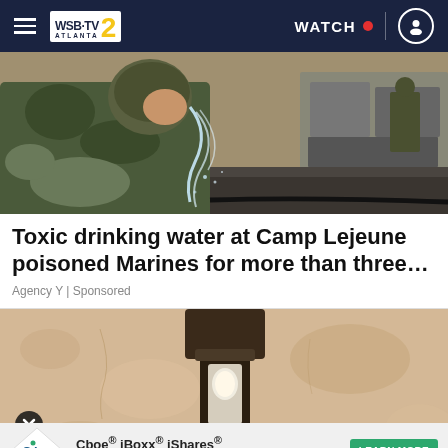WSB-TV 2 Atlanta | WATCH
[Figure (photo): A person in military camouflage uniform bending forward drinking from or washing face in a stream of water, military vehicles in the background]
Toxic drinking water at Camp Lejeune poisoned Marines for more than three…
Agency Y | Sponsored
[Figure (photo): Close-up of an outdoor wall-mounted light fixture on a stucco/textured beige wall, with an X close button overlay and a Cboe advertisement banner at the bottom reading: Cboe® iBoxx® iShares® Corporate Bond Index Futures with a green LEARN MORE button]